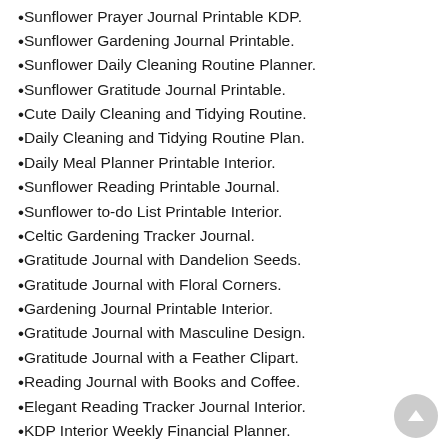Sunflower Prayer Journal Printable KDP.
Sunflower Gardening Journal Printable.
Sunflower Daily Cleaning Routine Planner.
Sunflower Gratitude Journal Printable.
Cute Daily Cleaning and Tidying Routine.
Daily Cleaning and Tidying Routine Plan.
Daily Meal Planner Printable Interior.
Sunflower Reading Printable Journal.
Sunflower to-do List Printable Interior.
Celtic Gardening Tracker Journal.
Gratitude Journal with Dandelion Seeds.
Gratitude Journal with Floral Corners.
Gardening Journal Printable Interior.
Gratitude Journal with Masculine Design.
Gratitude Journal with a Feather Clipart.
Reading Journal with Books and Coffee.
Elegant Reading Tracker Journal Interior.
KDP Interior Weekly Financial Planner.
KDP Interior the Peaches to-do List.